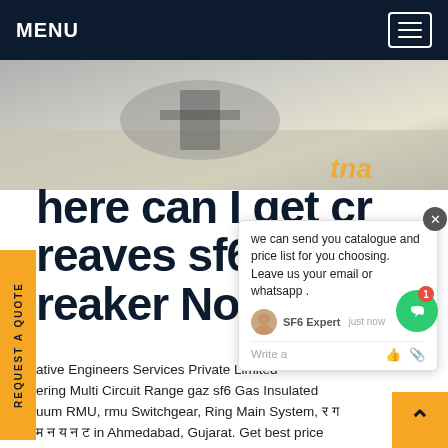MENU
[Figure (photo): Outdoor ground-level photo of electrical equipment installation area with text overlay 'tna']
Where can I get creaves sf6 circuit breaker North Korea
we can send you catalogue and price list for you choosing. Leave us your email or whatsapp .
Iative Engineers Services Private Limited - ering Multi Circuit Range gaz sf6 Gas Insulated uum RMU, rmu Switchgear, Ring Main System, रग म न य न ट in Ahmedabad, Gujarat. Get best price and read about company. Get contact details andGet price